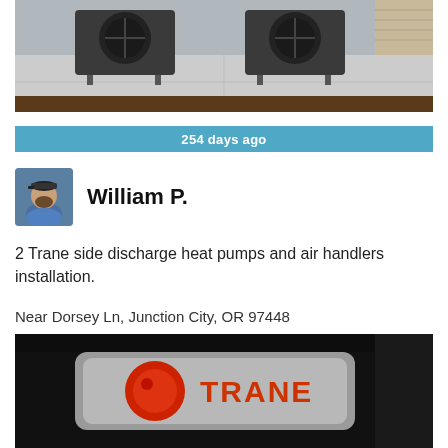[Figure (photo): Outdoor photo of two Trane side-discharge heat pump units installed on concrete pads against the side of a house, with a mulched garden bed in the foreground.]
254 days ago
[Figure (photo): Profile photo of William P., a man with a beard wearing a cap and blue shirt.]
William P.
2 Trane side discharge heat pumps and air handlers installation.
Near Dorsey Ln, Junction City, OR 97448
[Figure (photo): Close-up photo of a Trane brand label/logo on HVAC equipment, showing the red Trane circle logo and orange TRANE text on a dark background.]